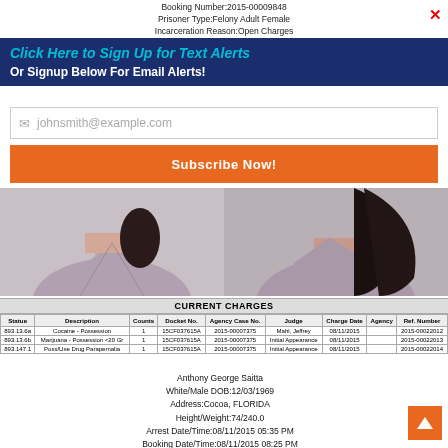Booking Number:2015-00009848
Prisoner Type:Felony Adult Female
Incarceration Reason:Open Charges
Click Here to Sign Up for Text Alerts
Or Signup Below For Email Alerts!
johnsmith@example.com
Subscribe Now!
[Figure (photo): Two mugshot photos side by side showing front and side profile of female prisoner in lavender/gray clothing]
CURRENT CHARGES
| Statue | Description | Counts | Docket No. | Agency Case No. | Judge | Charge Date | Agency | Ref. Number |
| --- | --- | --- | --- | --- | --- | --- | --- | --- |
| 893.13.6a | Cocaine - Possession | 1 | 15CF037615A | 2015-00007375 | Mahl, Jeffrey | 08/11/2015 |  | 2015-00022012 |
| 893.13.6b | Marijuana - Possession <20 Gr | 1 | 15CF037615A | 2015-00007375 | Initial Appearance | 08/11/2015 |  | 2015-00022013 |
| 893.147.1 | Poss/Use Drug Parapernalia | 1 | 15CF037615A | 2015-00007375 | Initial Appearance | 08/11/2015 |  | 2015-00022014 |
Anthony George Saitta
White/Male DOB:12/03/1969
Address:Cocoa, FLORIDA
Height/Weight:74/240.0
Arrest Date/Time:08/11/2015 05:35 PM
Booking Date/Time:08/11/2015 08:25 PM
Arrest Location:, Cocoa
Arresting Agency:Cocoa Police Department